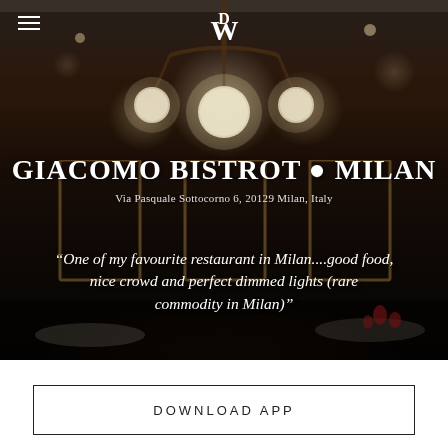[Figure (photo): Interior of Giacomo Bistrot restaurant in Milan, showing ornate dark decor, pendant globe lights on a chandelier, gilded mirrors, and dining tables with red glassware. Dark atmospheric ambiance.]
≡  [DW logo]
GIACOMO BISTROT • MILAN
Via Pasquale Sottocorno 6, 20129 Milan, Italy
“One of my favourite restaurant in Milan....good food, nice crowd and perfect dimmed lights (rare commodity in Milan)”
DOWNLOAD APP